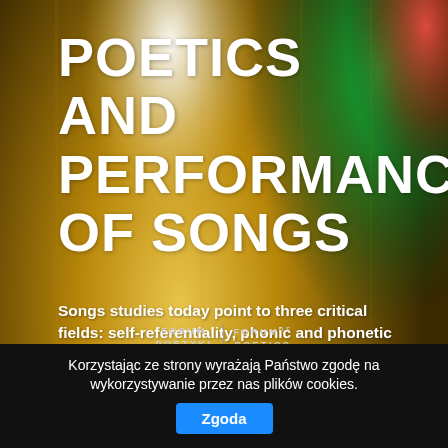[Figure (photo): Stage lighting photo background with warm yellow/gold light in center, green and red stage lights on the upper right, bokeh effect, dark theatrical atmosphere.]
POETICS AND PERFORMANCE OF SONGS
Songs studies today point to three critical fields: self-referentiality, phonic and phonetic aspects of singing, and transmediality.
[Figure (logo): Forum Poetyki / Forum of Poetics dual logo with vertical divider line]
Korzystając ze strony wyrażają Państwo zgodę na wykorzystywanie przez nas plików cookies.